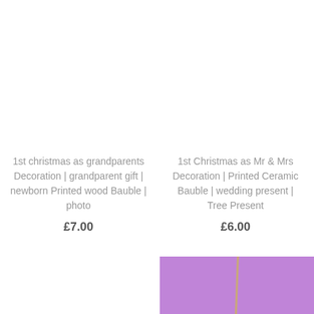1st christmas as grandparents Decoration | grandparent gift | newborn Printed wood Bauble | photo
£7.00
1st Christmas as Mr & Mrs Decoration | Printed Ceramic Bauble | wedding present | Tree Present
£6.00
[Figure (photo): Purple background product image partially visible at bottom right of page]